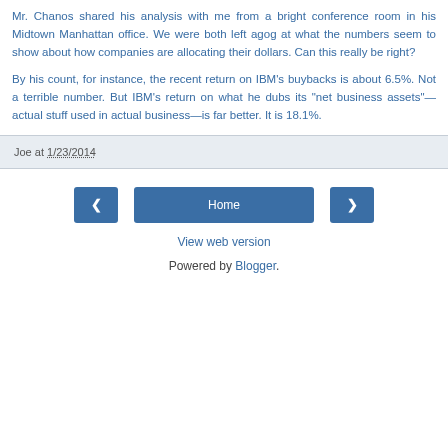Mr. Chanos shared his analysis with me from a bright conference room in his Midtown Manhattan office. We were both left agog at what the numbers seem to show about how companies are allocating their dollars. Can this really be right?

By his count, for instance, the recent return on IBM's buybacks is about 6.5%. Not a terrible number. But IBM's return on what he dubs its "net business assets"—actual stuff used in actual business—is far better. It is 18.1%.
Joe at 1/23/2014
Home
View web version
Powered by Blogger.